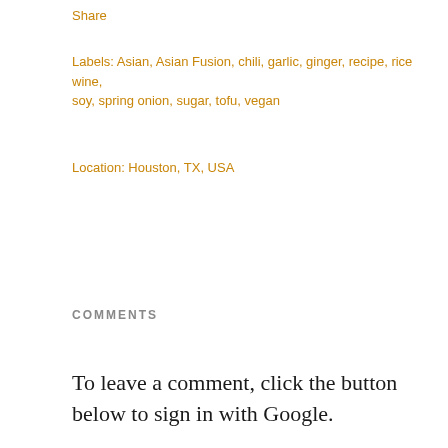Share
Labels: Asian, Asian Fusion, chili, garlic, ginger, recipe, rice wine, soy, spring onion, sugar, tofu, vegan
Location: Houston, TX, USA
COMMENTS
To leave a comment, click the button below to sign in with Google.
SIGN IN WITH GOOGLE